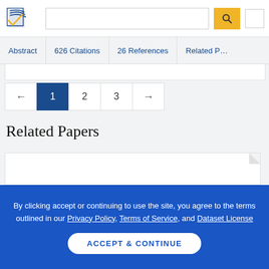Semantic Scholar — search bar and logo header
Abstract | 626 Citations | 26 References | Related P…
Pagination: ← 1 2 3 →
Related Papers
By clicking accept or continuing to use the site, you agree to the terms outlined in our Privacy Policy, Terms of Service, and Dataset License
ACCEPT & CONTINUE